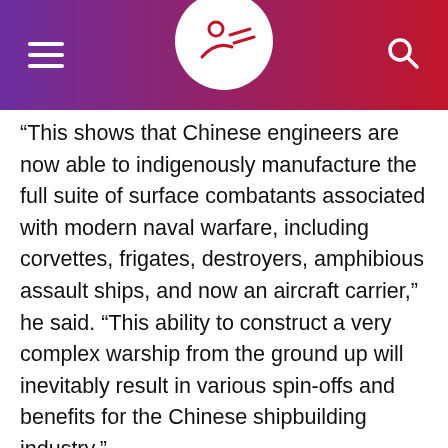Header bar with hamburger menu, logo, and search icon
“This shows that Chinese engineers are now able to indigenously manufacture the full suite of surface combatants associated with modern naval warfare, including corvettes, frigates, destroyers, amphibious assault ships, and now an aircraft carrier,” he said. “This ability to construct a very complex warship from the ground up will inevitably result in various spin-offs and benefits for the Chinese shipbuilding industry.”
China’s first carrier was a repurposed Soviet